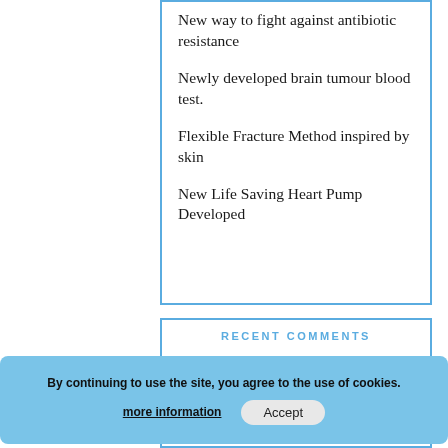New way to fight against antibiotic resistance
Newly developed brain tumour blood test.
Flexible Fracture Method inspired by skin
New Life Saving Heart Pump Developed
RECENT COMMENTS
ARCHIVES
By continuing to use the site, you agree to the use of cookies.
more information
Accept